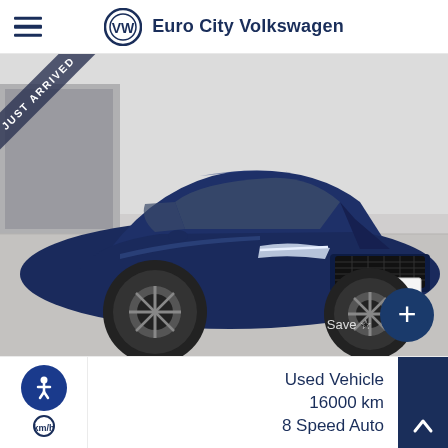Euro City Volkswagen
[Figure (photo): Blue Jaguar F-Type coupe with license plate NDH806, photographed from front-left angle in a showroom or garage. Has a 'Just Arrived' diagonal banner in the top-left corner. A dark blue circular button with a '+' sign appears in bottom-right of the image, along with a 'Save' label.]
Used Vehicle
16000 km
8 Speed Auto